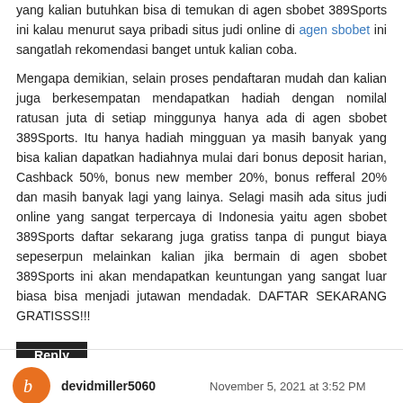yang kalian butuhkan bisa di temukan di agen sbobet 389Sports ini kalau menurut saya pribadi situs judi online di agen sbobet ini sangatlah rekomendasi banget untuk kalian coba.
Mengapa demikian, selain proses pendaftaran mudah dan kalian juga berkesempatan mendapatkan hadiah dengan nomilal ratusan juta di setiap minggunya hanya ada di agen sbobet 389Sports. Itu hanya hadiah mingguan ya masih banyak yang bisa kalian dapatkan hadiahnya mulai dari bonus deposit harian, Cashback 50%, bonus new member 20%, bonus refferal 20% dan masih banyak lagi yang lainya. Selagi masih ada situs judi online yang sangat terpercaya di Indonesia yaitu agen sbobet 389Sports daftar sekarang juga gratiss tanpa di pungut biaya sepeserpun melainkan kalian jika bermain di agen sbobet 389Sports ini akan mendapatkan keuntungan yang sangat luar biasa bisa menjadi jutawan mendadak. DAFTAR SEKARANG GRATISSS!!!
Reply
devidmiller5060
November 5, 2021 at 3:52 PM